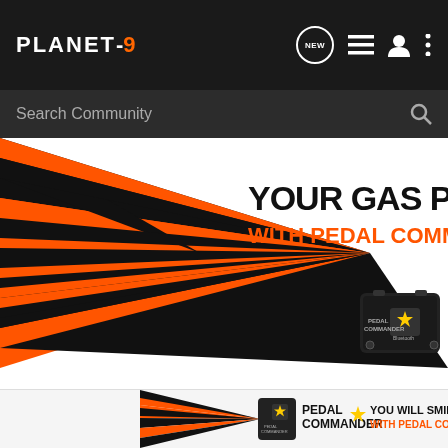PLANET-9 [NEW] [list icon] [user icon] [menu icon]
Search Community
[Figure (screenshot): Pedal Commander advertisement banner showing orange and black lightning bolt graphic rays converging to a Pedal Commander device on the right. Text reads YOUR GAS PEDAL WITH PEDAL COMMANDER on a white background.]
[Figure (screenshot): Smaller Pedal Commander ad banner showing orange rays, device image, PEDAL COMMANDER logo with star, YOU WILL SMILE 100% WITH PEDAL COMMANDER text.]